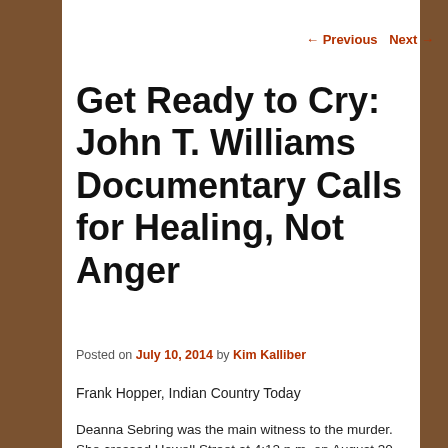← Previous   Next →
Get Ready to Cry: John T. Williams Documentary Calls for Healing, Not Anger
Posted on July 10, 2014 by Kim Kalliber
Frank Hopper, Indian Country Today
Deanna Sebring was the main witness to the murder. She crossed Howell Street at 4:12 p.m. on August 30, 2010